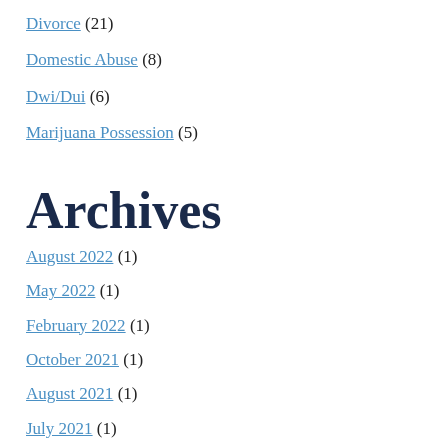Divorce (21)
Domestic Abuse (8)
Dwi/Dui (6)
Marijuana Possession (5)
Archives
August 2022 (1)
May 2022 (1)
February 2022 (1)
October 2021 (1)
August 2021 (1)
July 2021 (1)